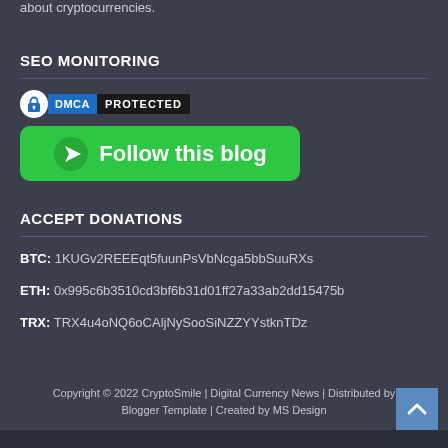about cryptocurrencies.
SEO MONITORING
[Figure (other): DMCA Protected badge with lock icon, blue DMCA label, and black PROTECTED text]
[Figure (other): Green 'Follow this blog' button with arrow icon]
ACCEPT DONATIONS
BTC: 1KUGv2REEEqt5fuunPsVbNcga5bbSuuRXs
ETH: 0x995c6b3510cd3bf6b31d01ff27a33ab2dd15475b
TRX: TRX4u4oNQ6oCAljNySooSiNZZYYstknTDz
Copyright © 2022 CryptoSmile | Digital Currency News | Distributed by Blogger Template | Created by MS Design